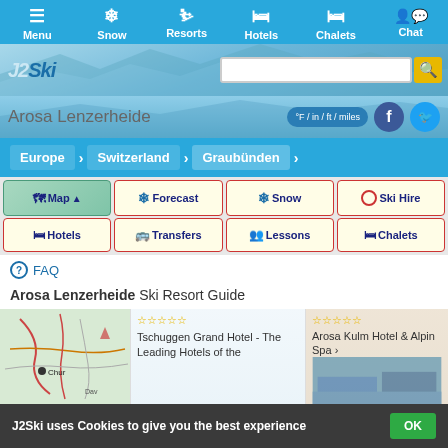Menu | Snow | Resorts | Hotels | Chalets | Chat
[Figure (screenshot): J2Ski logo with search bar]
°F / in / ft / miles
Europe > Switzerland > Graubünden
Map | Forecast | Snow | Ski Hire
Hotels | Transfers | Lessons | Chalets
FAQ
Arosa Lenzerheide Ski Resort Guide
[Figure (map): Map thumbnail of Arosa Lenzerheide area showing Chur]
Tschuggen Grand Hotel - The Leading Hotels of the World
Arosa Kulm Hotel & Alpin Spa
J2Ski uses Cookies to give you the best experience  OK